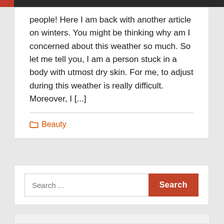people! Here I am back with another article on winters. You might be thinking why am I concerned about this weather so much. So let me tell you, I am a person stuck in a body with utmost dry skin. For me, to adjust during this weather is really difficult. Moreover, I [...]
Beauty
Search ...